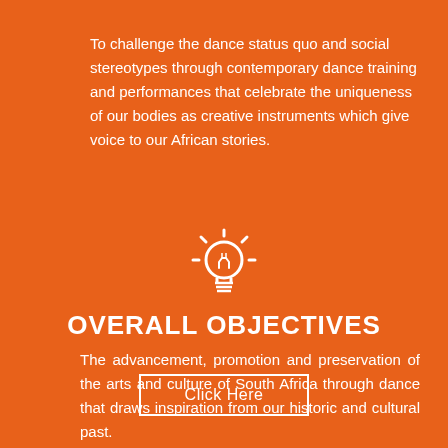To challenge the dance status quo and social stereotypes through contemporary dance training and performances that celebrate the uniqueness of our bodies as creative instruments which give voice to our African stories.
[Figure (illustration): White line-art lightbulb icon with rays radiating outward on an orange background]
OVERALL OBJECTIVES
The advancement, promotion and preservation of the arts and culture of South Africa through dance that draws inspiration from our historic and cultural past.
Click Here